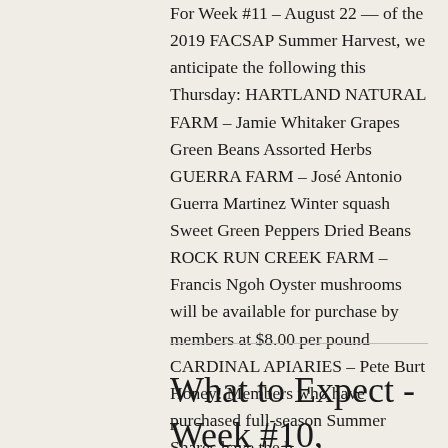For Week #11 – August 22 — of the 2019 FACSAP Summer Harvest, we anticipate the following this Thursday: HARTLAND NATURAL FARM – Jamie Whitaker Grapes Green Beans Assorted Herbs GUERRA FARM – José Antonio Guerra Martinez Winter squash Sweet Green Peppers Dried Beans ROCK RUN CREEK FARM – Francis Ngoh Oyster mushrooms will be available for purchase by members at $8.00 per pound CARDINAL APIARIES – Pete Burt Honey! Members who have purchased full-season Summer Shares have the h
What to Expect - Week #10, Season 23